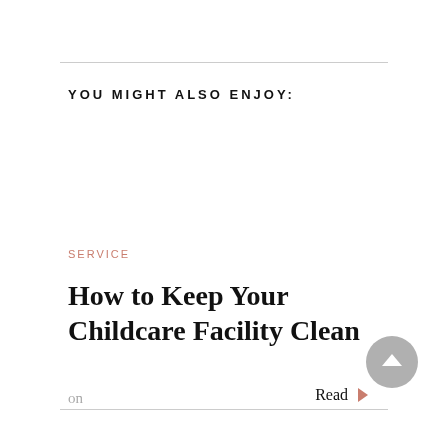YOU MIGHT ALSO ENJOY:
SERVICE
How to Keep Your Childcare Facility Clean
on
Read